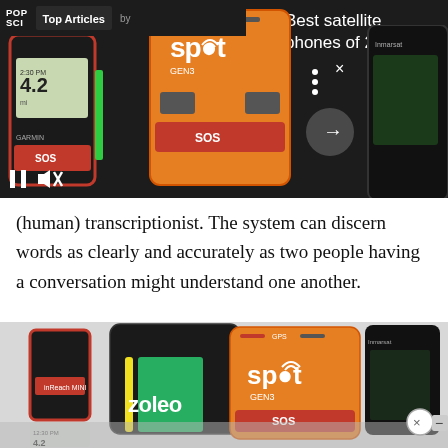[Figure (screenshot): Top navigation bar with POP SCI logo, 'Top Articles' label, 'by' text, and 'Best satellite phones of 2022' title on dark background. Overlaid on image of satellite communication devices: Garmin inReach Mini (left), SPOT Gen3 (center, orange), and Inmarsat device (right). Media controls (pause, mute) and navigation arrows visible.]
(human) transcriptionist. The system can discern words as clearly and accurately as two people having a conversation might understand one another.
[Figure (photo): Bottom image showing satellite communication devices: Garmin inReach Mini (left, black/red), Zoleo (center, black/green), SPOT Gen3 (center-right, orange), and Inmarsat IsatPhone (far right, black). Reflection visible below devices on gray surface.]